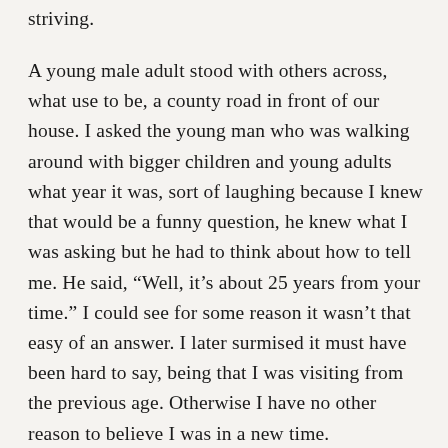striving.
A young male adult stood with others across, what use to be, a county road in front of our house. I asked the young man who was walking around with bigger children and young adults what year it was, sort of laughing because I knew that would be a funny question, he knew what I was asking but he had to think about how to tell me. He said, “Well, it’s about 25 years from your time.” I could see for some reason it wasn’t that easy of an answer. I later surmised it must have been hard to say, being that I was visiting from the previous age. Otherwise I have no other reason to believe I was in a new time.